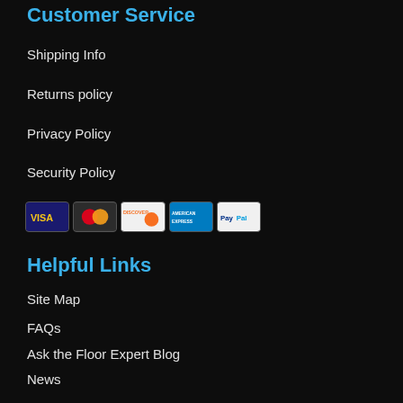Customer Service
Shipping Info
Returns policy
Privacy Policy
Security Policy
[Figure (infographic): Payment method icons: Visa, MasterCard, Discover, American Express, PayPal]
Helpful Links
Site Map
FAQs
Ask the Floor Expert Blog
News
Testimonials